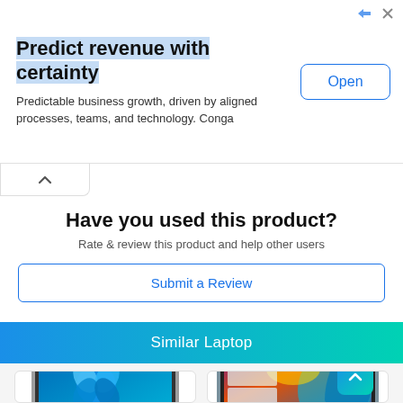[Figure (screenshot): Advertisement banner: 'Predict revenue with certainty' with subtitle 'Predictable business growth, driven by aligned processes, teams, and technology. Conga' and an 'Open' button]
Have you used this product?
Rate & review this product and help other users
Submit a Review
Similar Laptop
[Figure (photo): Laptop with Windows 11 desktop showing blue flower/Windows logo wallpaper]
[Figure (photo): Laptop with colorful abstract wallpaper showing purple, yellow, and blue colors]